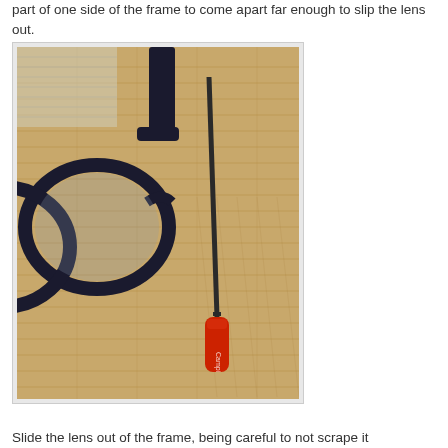part of one side of the frame to come apart far enough to slip the lens out.
[Figure (photo): A close-up photo of a black eyeglasses frame on a bamboo mat surface, with a small red-handled screwdriver (labeled 'Campi') inserted between the frame and lens area.]
Slide the lens out of the frame, being careful to not scrape it